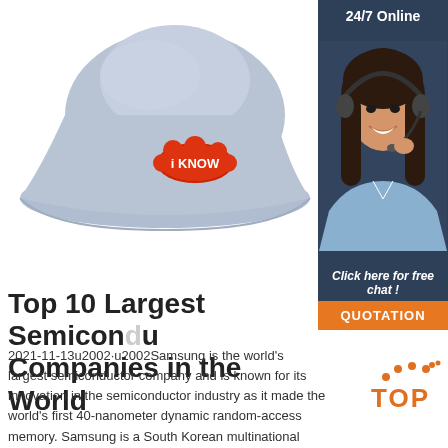[Figure (photo): Light blue bucket/sun hat with an orange 'i KNOW' embroidered patch on the front, displayed on white background]
[Figure (photo): Dark teal sidebar panel showing '24/7 Online' text, a smiling woman with headset (customer service), 'Click here for free chat!' italic text, and an orange 'QUOTATION' button]
Top 10 Largest Semiconductor Companies in the World
[Figure (logo): TOP logo with orange dots arranged in an arc above bold orange 'TOP' text]
2021-11-13u2002·u2002Samsung is the world's largest semiconductor company and is known for its innovation in the semiconductor industry as it made the world's first 40-nanometer dynamic random-access memory. Samsung is a South Korean multinational conglomerate headquartered in